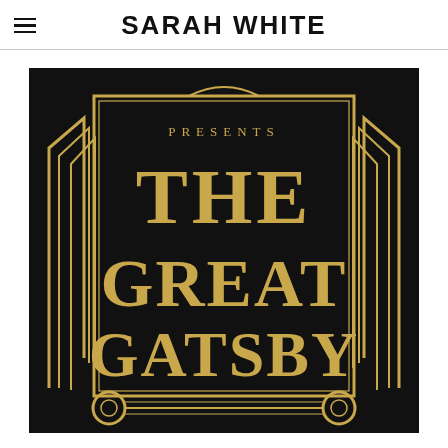SARAH WHITE
[Figure (illustration): Art Deco style black poster with gold text reading 'PRESENTS THE GREAT GATSBY'. The design features decorative Art Deco geometric border elements with fan/arch shapes on the sides, and ornate serif display lettering for the title text.]